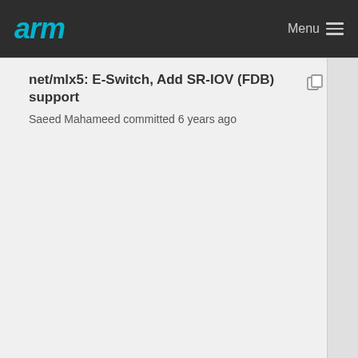arm  Menu
net/mlx5: E-Switch, Add SR-IOV (FDB) support
Saeed Mahameed committed 6 years ago